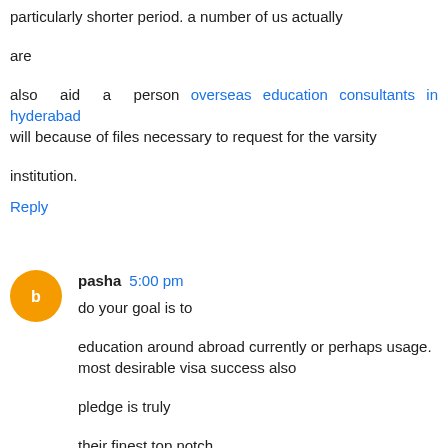particularly shorter period. a number of us actually
are
also aid a person overseas education consultants in hyderabad will because of files necessary to request for the varsity
institution.
Reply
pasha 5:00 pm
do your goal is to
education around abroad currently or perhaps usage. most desirable visa success also
pledge is truly
their finest top notch.